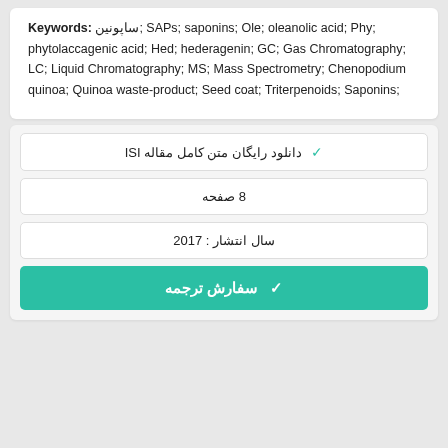Keywords: ساپونین; SAPs; saponins; Ole; oleanolic acid; Phy; phytolaccagenic acid; Hed; hederagenin; GC; Gas Chromatography; LC; Liquid Chromatography; MS; Mass Spectrometry; Chenopodium quinoa; Quinoa waste-product; Seed coat; Triterpenoids; Saponins;
✓ دانلود رایگان متن کامل مقاله ISI
8 صفحه
سال انتشار : 2017
✓ سفارش ترجمه